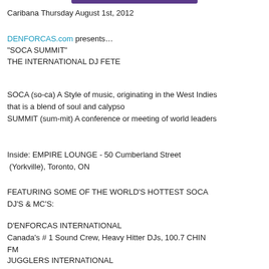Caribana Thursday August 1st, 2012
DENFORCAS.com presents…
"SOCA SUMMIT"
THE INTERNATIONAL DJ FETE
SOCA (so-ca) A Style of music, originating in the West Indies that is a blend of soul and calypso
SUMMIT (sum-mit) A conference or meeting of world leaders
Inside: EMPIRE LOUNGE - 50 Cumberland Street (Yorkville), Toronto, ON
FEATURING SOME OF THE WORLD'S HOTTEST SOCA DJ'S & MC'S:
D'ENFORCAS INTERNATIONAL
Canada's # 1 Sound Crew, Heavy Hitter DJs, 100.7 CHIN FM
JUGGLERS INTERNATIONAL